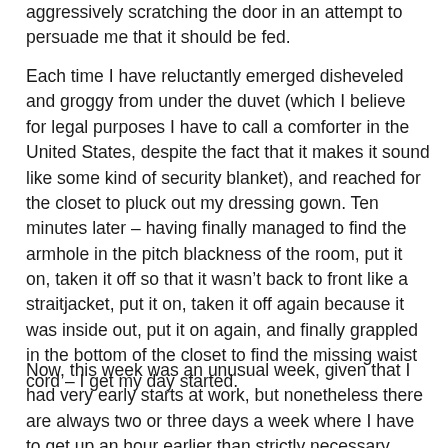aggressively scratching the door in an attempt to persuade me that it should be fed.
Each time I have reluctantly emerged disheveled and groggy from under the duvet (which I believe for legal purposes I have to call a comforter in the United States, despite the fact that it makes it sound like some kind of security blanket), and reached for the closet to pluck out my dressing gown. Ten minutes later – having finally managed to find the armhole in the pitch blackness of the room, put it on, taken it off so that it wasn’t back to front like a straitjacket, put it on, taken it off again because it was inside out, put it on again, and finally grappled in the bottom of the closet to find the missing waist cord – I get my day started.
Now, this week was an unusual week, given that I had very early starts at work, but nonetheless there are always two or three days a week where I have to get up an hour earlier than strictly necessary. That’s sixty minutes of lost sleep, making